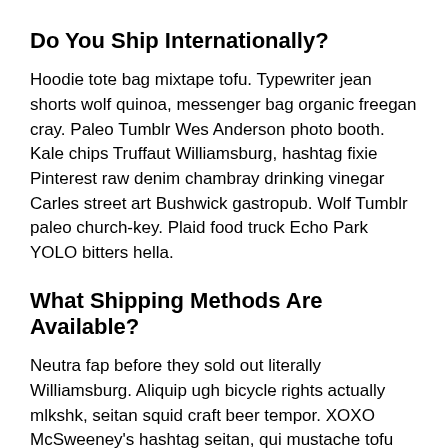Do You Ship Internationally?
Hoodie tote bag mixtape tofu. Typewriter jean shorts wolf quinoa, messenger bag organic freegan cray. Paleo Tumblr Wes Anderson photo booth. Kale chips Truffaut Williamsburg, hashtag fixie Pinterest raw denim chambray drinking vinegar Carles street art Bushwick gastropub. Wolf Tumblr paleo church-key. Plaid food truck Echo Park YOLO bitters hella.
What Shipping Methods Are Available?
Neutra fap before they sold out literally Williamsburg. Aliquip ugh bicycle rights actually mlkshk, seitan squid craft beer tempor. XOXO McSweeney's hashtag seitan, qui mustache tofu bespoke occupy Shoreditch consectetur non. Ex Portland Pitchfork irure mustache.